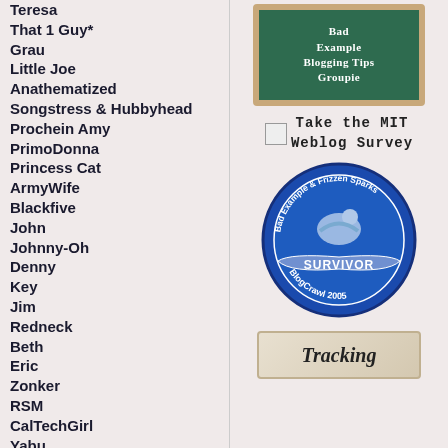Teresa
That 1 Guy*
Grau
Little Joe
Anathematized
Songstress & Hubbyhead
Prochein Amy
PrimoDonna
Princess Cat
ArmyWife
Blackfive
John
Johnny-Oh
Denny
Key
Jim
Redneck
Beth
Eric
Zonker
RSM
CalTechGirl
Yabu
Dax
[Figure (illustration): Chalkboard image reading Bad Example Blogging Tips Groupie]
[Figure (illustration): Broken image icon followed by text: Take the MIT Weblog Survey]
[Figure (illustration): Circular badge: Bad Example & Frizzen Sparks SURVIVOR BlogCrawl 2005]
[Figure (illustration): Tracking button with italic text]